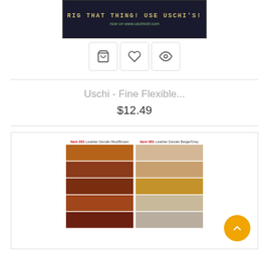[Figure (screenshot): Dark banner image with text 'RIG THAT THING! USE USCHI'S!' and 'now on www.uschivdr.com']
[Figure (other): Three action icon buttons: shopping cart, heart/wishlist, and eye/preview]
Uschi - Fine Flexible...
$12.49
[Figure (other): Leather decals swatches showing two groups: Red/Brown tones on left and Beige/Grey tones on right, each with multiple horizontal color strips]